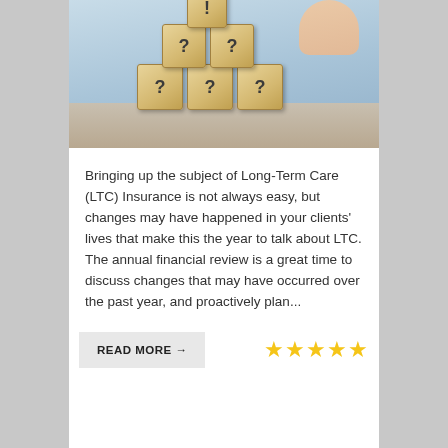[Figure (photo): A hand placing a wooden block with a question mark on top of a pyramid of wooden blocks, each showing question marks, arranged on a table surface.]
Bringing up the subject of Long-Term Care (LTC) Insurance is not always easy, but changes may have happened in your clients' lives that make this the year to talk about LTC. The annual financial review is a great time to discuss changes that may have occurred over the past year, and proactively plan...
READ MORE →
[Figure (other): Five gold star rating icons]